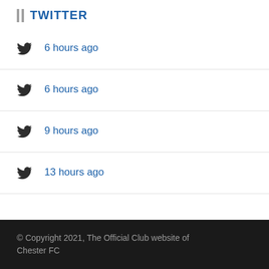TWITTER
6 hours ago
6 hours ago
9 hours ago
13 hours ago
© Copyright 2021, The Official Club website of Chester FC